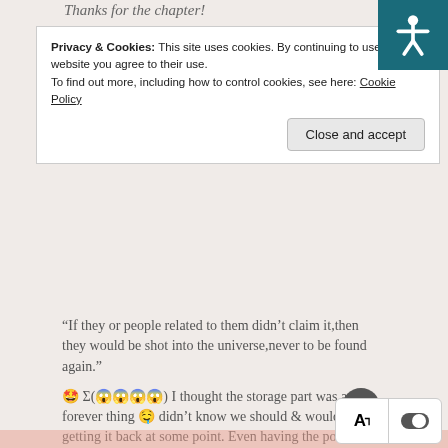Thanks for the chapter!
Privacy & Cookies: This site uses cookies. By continuing to use this website you agree to their use.
To find out more, including how to control cookies, see here: Cookie Policy
Close and accept
“If they or people related to them didn’t claim it,then they would be shot into the universe,never to be found again.”
🤩 Σ(😱😱😱😱) I thought the storage part was a forever thing 🤤 didn’t know we should & would be getting it back at some point. Even having the possibility of it being a space treasure, somewhere out there, someday if not claimed.
Aaaa he gave out a meteorite that’s paired w/ our bby mc
👍 0 | 0 👎 ➤ Reply